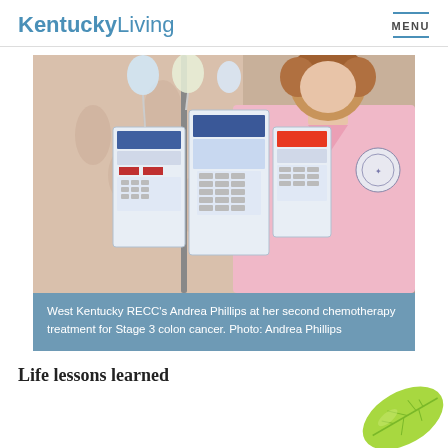KentuckyLiving   MENU
[Figure (photo): Woman in pink scrubs standing next to IV chemotherapy infusion pumps on a pole, in a clinical/hospital room setting.]
West Kentucky RECC's Andrea Phillips at her second chemotherapy treatment for Stage 3 colon cancer. Photo: Andrea Phillips
Life lessons learned
[Figure (illustration): Green leaf decorative illustration in the bottom-right corner of the page.]